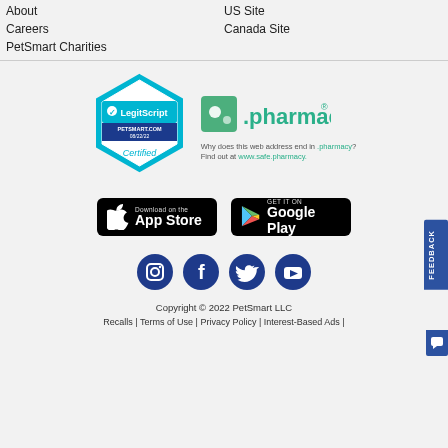About
US Site
Careers
Canada Site
PetSmart Charities
[Figure (logo): LegitScript certified badge for PETSMART.COM dated 08/22/22]
[Figure (logo): .pharmacy badge with text: Why does this web address end in .pharmacy? Find out at www.safe.pharmacy.]
[Figure (logo): Download on the App Store button]
[Figure (logo): Get it on Google Play button]
[Figure (logo): Social media icons: Instagram, Facebook, Twitter, YouTube]
Copyright © 2022 PetSmart LLC
Recalls | Terms of Use | Privacy Policy | Interest-Based Ads |